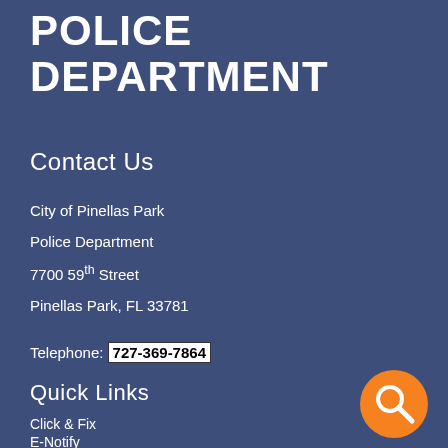POLICE DEPARTMENT
Contact Us
City of Pinellas Park
Police Department
7700 59th Street
Pinellas Park, FL 33781
Telephone: 727-369-7864
Quick Links
Click & Fix
E-Notify
[Figure (illustration): Orange circular search/magnifying glass button icon in bottom right corner]